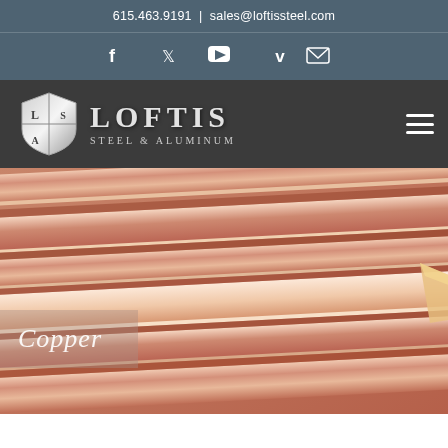615.463.9191  |  sales@loftissteel.com
[Figure (logo): Social media icons row: Facebook, Twitter, YouTube, Vimeo, Email]
[Figure (logo): Loftis Steel & Aluminum company logo with shield emblem on dark grey navigation bar with hamburger menu]
[Figure (photo): Close-up photograph of shiny copper metal strips/sheets arranged diagonally with reflective surface]
Copper